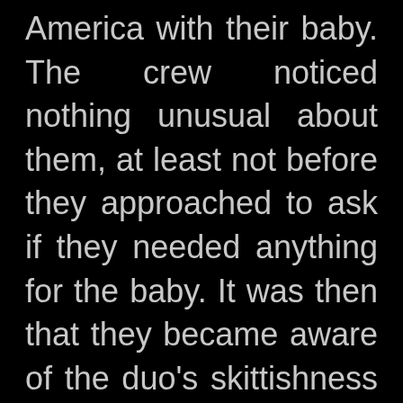America with their baby. The crew noticed nothing unusual about them, at least not before they approached to ask if they needed anything for the baby. It was then that they became aware of the duo's skittishness and professional curiosity turned to suspicion. For peace of mind, they called ahead and asked that local authorities at their destination meet the flight upon its arrival. That's when the truth was uncovered; the infant